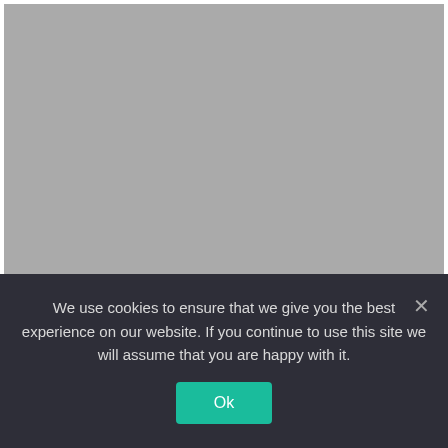[Figure (photo): Gray placeholder image area at the top of the page, approximately 440x270px]
Lupita Nyong'o To Produce
We use cookies to ensure that we give you the best experience on our website. If you continue to use this site we will assume that you are happy with it.
Ok